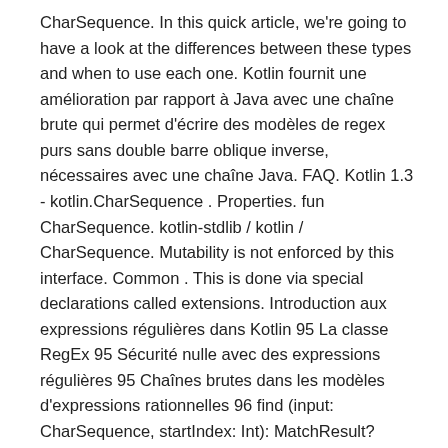CharSequence. In this quick article, we're going to have a look at the differences between these types and when to use each one. Kotlin fournit une amélioration par rapport à Java avec une chaîne brute qui permet d'écrire des modèles de regex purs sans double barre oblique inverse, nécessaires avec une chaîne Java. FAQ. Kotlin 1.3 - kotlin.CharSequence . Properties. fun CharSequence. kotlin-stdlib / kotlin / CharSequence. Mutability is not enforced by this interface. Common . This is done via special declarations called extensions. Introduction aux expressions régulières dans Kotlin 95 La classe RegEx 95 Sécurité nulle avec des expressions régulières 95 Chaînes brutes dans les modèles d'expressions rationnelles 96 find (input: CharSequence, startIndex: Int): MatchResult? Following are the two variants of this constructor : It is pretty easy in kotlin to convert one character array to string. JS. toDouble(): Double. JVM. A raw